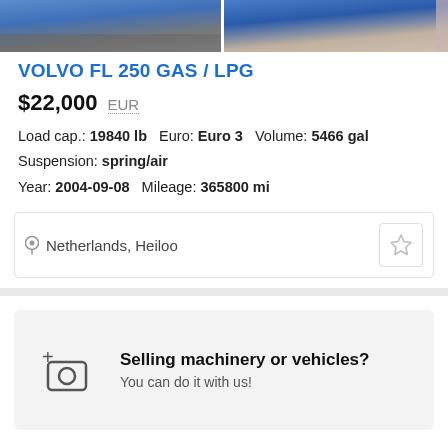[Figure (photo): Two partial photos of a blue Volvo truck, cropped at the top of the page]
VOLVO FL 250 GAS / LPG
$22,000  EUR
Load cap.: 19840 lb  Euro: Euro 3  Volume: 5466 gal
Suspension: spring/air
Year: 2004-09-08  Mileage: 365800 mi
Netherlands, Heiloo
Selling machinery or vehicles?
You can do it with us!
Place your ad